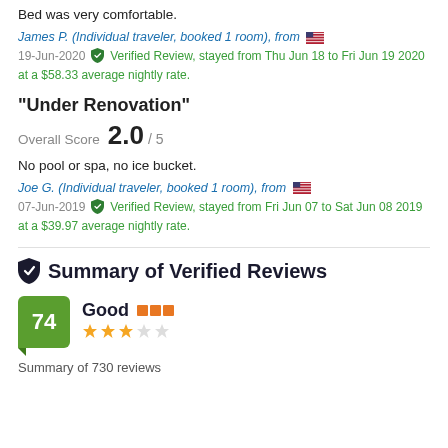Bed was very comfortable.
James P. (Individual traveler, booked 1 room), from 🇺🇸
19-Jun-2020 ✔ Verified Review, stayed from Thu Jun 18 to Fri Jun 19 2020 at a $58.33 average nightly rate.
"Under Renovation"
Overall Score  2.0 / 5
No pool or spa, no ice bucket.
Joe G. (Individual traveler, booked 1 room), from 🇺🇸
07-Jun-2019 ✔ Verified Review, stayed from Fri Jun 07 to Sat Jun 08 2019 at a $39.97 average nightly rate.
Summary of Verified Reviews
74 Good ★★★☆☆
Summary of 730 reviews